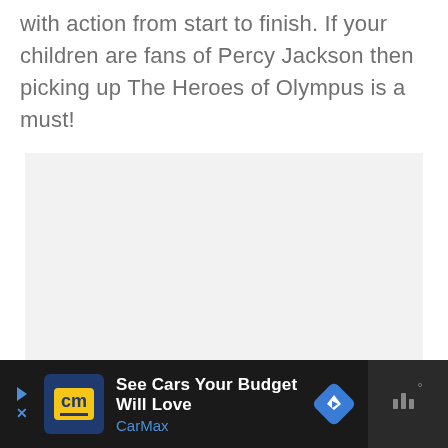with action from start to finish. If your children are fans of Percy Jackson then picking up The Heroes of Olympus is a must!
[Figure (other): Gray placeholder/advertisement content area box]
[Figure (other): Advertisement banner: CarMax 'See Cars Your Budget Will Love' ad with CarMax logo, blue navigation arrow icon, and weather widget icon on dark background bar]